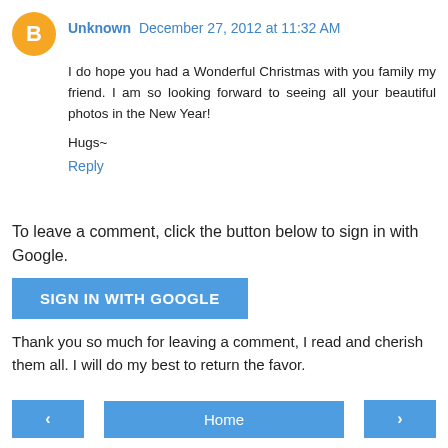Unknown December 27, 2012 at 11:32 AM
I do hope you had a Wonderful Christmas with you family my friend. I am so looking forward to seeing all your beautiful photos in the New Year!
Hugs~
Reply
To leave a comment, click the button below to sign in with Google.
[Figure (other): SIGN IN WITH GOOGLE button — a wide blue rectangular button with white uppercase text]
Thank you so much for leaving a comment, I read and cherish them all. I will do my best to return the favor.
[Figure (other): Navigation bar with left arrow button, Home button, and right arrow button, all in blue]